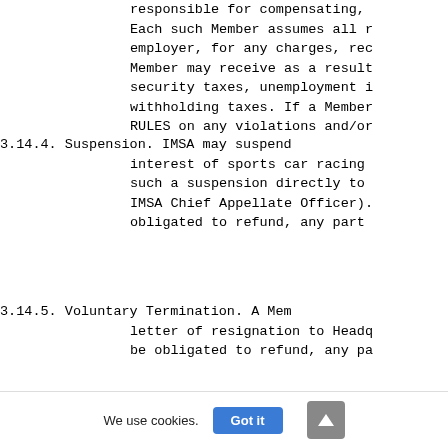responsible for compensating,
Each such Member assumes all r
employer, for any charges, rec
Member may receive as a result
security taxes, unemployment i
withholding taxes. If a Member
RULES on any violations and/or
3.14.4. Suspension. IMSA may suspend
       interest of sports car racing
       such a suspension directly to
       IMSA Chief Appellate Officer).
       obligated to refund, any part
3.14.5. Voluntary Termination. A Mem
       letter of resignation to Headq
       be obligated to refund, any pa
3.14.6. Involuntary Termination. IMS
       car racing or IMSA, in IMSA's